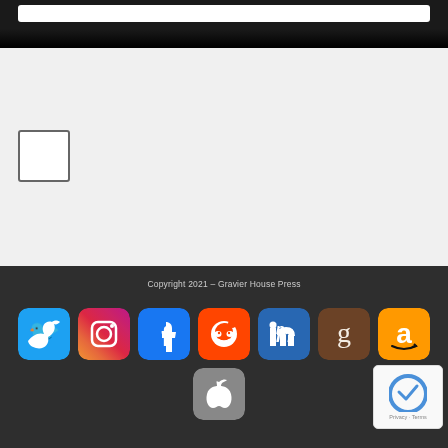[Figure (screenshot): Dark top navigation bar with white search bar]
[Figure (screenshot): Light grey main content area with a checkbox/empty box outline on the left]
Copyright 2021 – Gravier House Press
[Figure (screenshot): Social media icons row: Twitter, Instagram, Facebook, Reddit, LinkedIn, Goodreads, Amazon, Apple]
[Figure (screenshot): reCAPTCHA widget with Privacy and Terms text]